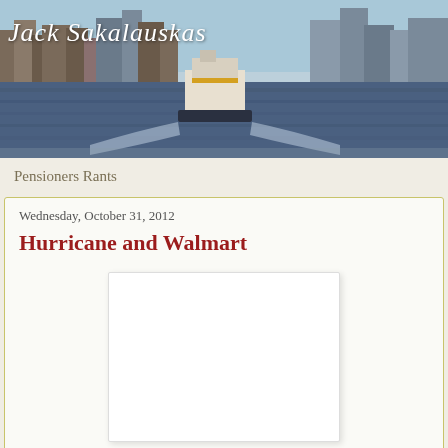[Figure (photo): Header photo of a harbour/waterfront cityscape with a ferry boat on the water. The skyline shows multiple buildings. Text overlay reads 'Jack Sakalauskas' in italic white script.]
Pensioners Rants
Wednesday, October 31, 2012
Hurricane and Walmart
[Figure (photo): Embedded image placeholder (white rectangle, content not visible)]